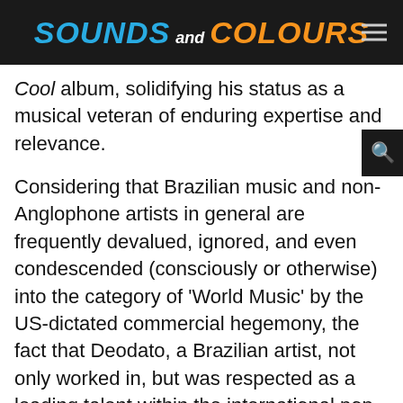Sounds and Colours
Cool album, solidifying his status as a musical veteran of enduring expertise and relevance.
Considering that Brazilian music and non-Anglophone artists in general are frequently devalued, ignored, and even condescended (consciously or otherwise) into the category of 'World Music' by the US-dictated commercial hegemony, the fact that Deodato, a Brazilian artist, not only worked in, but was respected as a leading talent within the international pop music scene, is a true testament to his ability.
The pinnacle of this recognition arguably came in 1974 when he was awarded the Grammy for Best Pop Instrumental Performance for his ingenious reimagining of Richard Strauss' Also Sprach Zarathustra (the theme to Kubrick's 2001: A Space Odyssey).